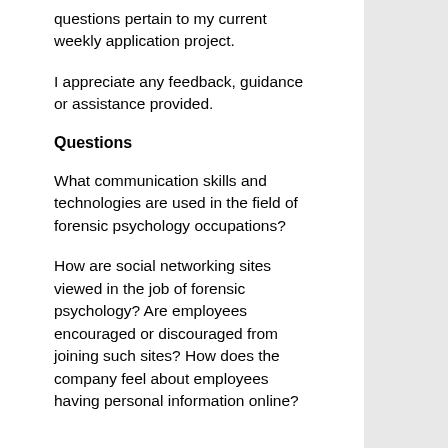questions pertain to my current weekly application project.
I appreciate any feedback, guidance or assistance provided.
Questions
What communication skills and technologies are used in the field of forensic psychology occupations?
How are social networking sites viewed in the job of forensic psychology? Are employees encouraged or discouraged from joining such sites? How does the company feel about employees having personal information online?